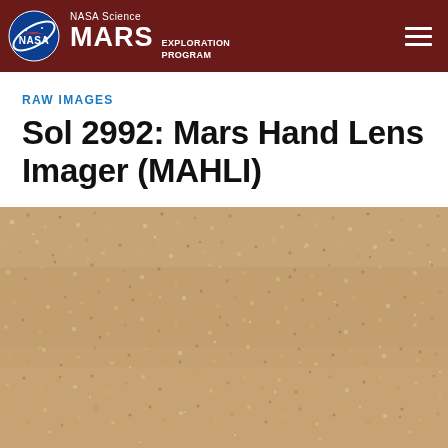NASA Science MARS EXPLORATION PROGRAM
RAW IMAGES
Sol 2992: Mars Hand Lens Imager (MAHLI)
[Figure (photo): Close-up macro photograph of Martian surface showing fine-grained sand and dust particles in tan, beige, and light brown tones with subtle variation in grain size and texture.]